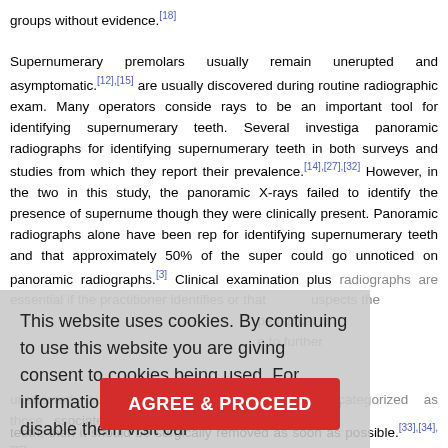groups without evidence.[18]
Supernumerary premolars usually remain unerupted and asymptomatic.[12],[15] are usually discovered during routine radiographic exam. Many operators consider rays to be an important tool for identifying supernumerary teeth. Several investigations panoramic radiographs for identifying supernumerary teeth in both surveys and studies from which they report their prevalence.[14],[27],[32] However, in the two in this study, the panoramic X-rays failed to identify the presence of supernumerary though they were clinically present. Panoramic radiographs alone have been reported for identifying supernumerary teeth and that approximately 50% of the supernumerary could go unnoticed on panoramic radiographs.[3] Clinical examination plus radiographs are essential if the practitioner identifies or that suspects the periapical ra to further
Erupted eraries need ssociated with d with complications be kept the supernumerary premolar is malpositionin teeth, then it should be surgically removed as soon as possible.[33],[34],[35] The ti
This website uses cookies. By continuing to use this website you are giving consent to cookies being used. For information on cookies and how you can disable them visit our Privacy and Cookie Policy.
AGREE & PROCEED